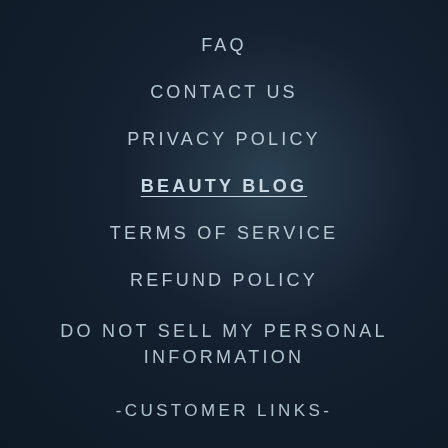FAQ
CONTACT US
PRIVACY POLICY
BEAUTY BLOG
TERMS OF SERVICE
REFUND POLICY
DO NOT SELL MY PERSONAL INFORMATION
-CUSTOMER LINKS-